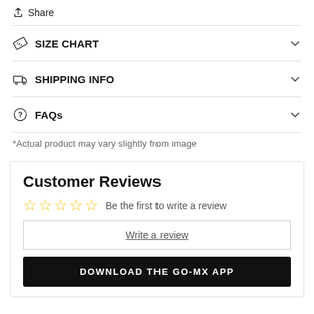Share
SIZE CHART
SHIPPING INFO
FAQs
*Actual product may vary slightly from image
Customer Reviews
Be the first to write a review
Write a review
DOWNLOAD THE GO-MX APP